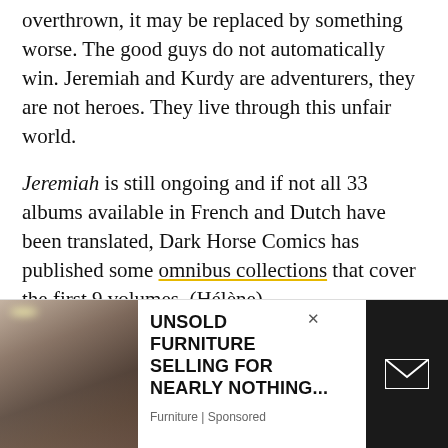overthrown, it may be replaced by something worse. The good guys do not automatically win. Jeremiah and Kurdy are adventurers, they are not heroes. They live through this unfair world.
Jeremiah is still ongoing and if not all 33 albums available in French and Dutch have been translated, Dark Horse Comics has published some omnibus collections that cover the first 9 volumes. (Hélène)
[Figure (photo): Advertisement banner at the bottom of the page showing a furniture store interior photo on the left, text 'UNSOLD FURNITURE SELLING FOR NEARLY NOTHING... Furniture | Sponsored' in the middle, and a dark box with an envelope icon on the right.]